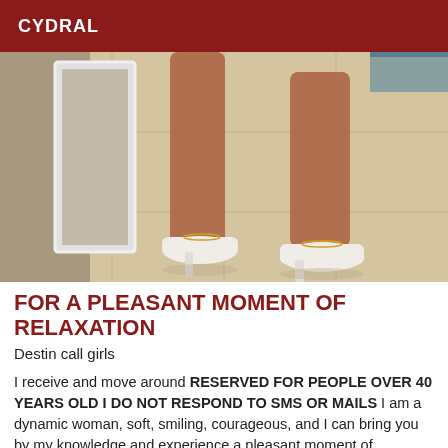CYDRAL
[Figure (photo): Photo showing legs of a woman wearing white high-heeled pumps, standing on a light beige tiled floor near a white mirror frame.]
FOR A PLEASANT MOMENT OF RELAXATION
Destin call girls
I receive and move around RESERVED FOR PEOPLE OVER 40 YEARS OLD I DO NOT RESPOND TO SMS OR MAILS I am a dynamic woman, soft, smiling, courageous, and I can bring you by my knowledge and experience a pleasant moment of relaxation in my company, if you are a correct, respectful man, with irrepproachable hygiene. THIS ADVERTISEMENT IS